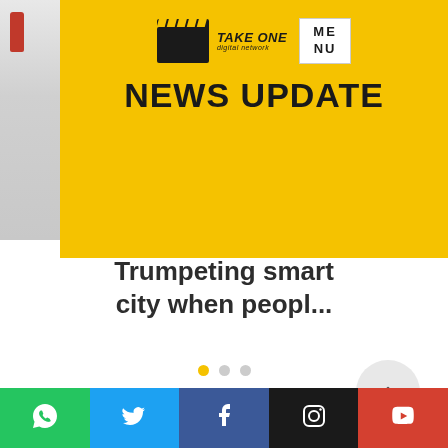[Figure (screenshot): Take One Digital Network news update banner on yellow background with clapperboard logo, MENU box, and NEWS UPDATE text in bold. Left side shows partial view of people.]
Trumpeting smart city when peopl...
[Figure (infographic): Carousel pagination dots: one active yellow dot followed by two grey dots]
[Figure (infographic): Scroll-to-top circular button with upward chevron arrow, light grey background]
[Figure (infographic): Social media share bar with icons for WhatsApp (green), Twitter (blue), Facebook (dark blue), Instagram (black), YouTube (red)]